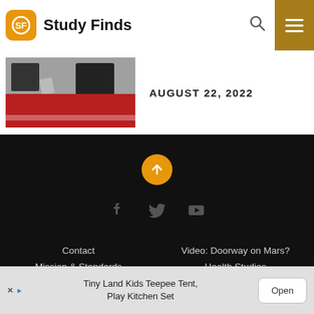Study Finds
[Figure (photo): Thumbnail image showing guns/ammunition with American flag in background]
AUGUST 22, 2022
[Figure (illustration): Dark footer with upload arrow button and social media icons (Facebook, Twitter, YouTube)]
Contact
Video: Doorway on Mars?
Mission & Standards
Health Studies
Editorial Team &
Political Studies
Privacy Policy
[Figure (screenshot): Advertisement banner: Tiny Land Kids Teepee Tent, Play Kitchen Set with Open button]